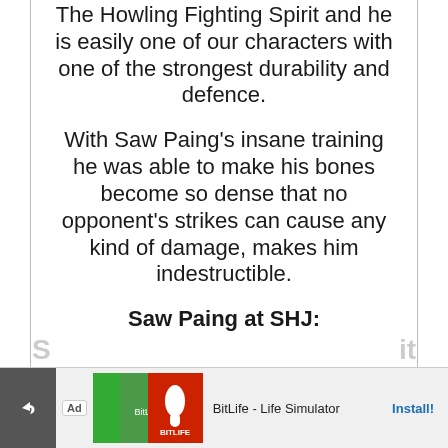The Howling Fighting Spirit and he is easily one of our characters with one of the strongest durability and defence.
With Saw Paing's insane training he was able to make his bones become so dense that no opponent's strikes can cause any kind of damage, makes him indestructible.
Saw Paing at SHJ:
[Figure (screenshot): Mobile advertisement banner for BitLife - Life Simulator app showing Ad badge, app icon images (green and red backgrounds), app name, and Install button]